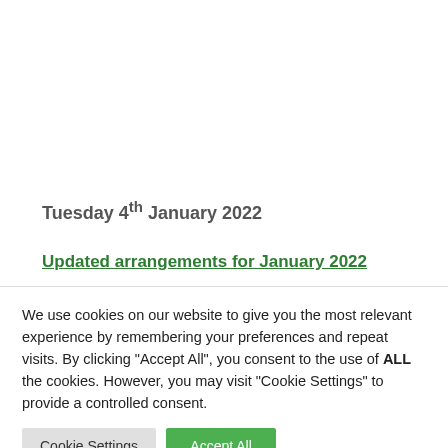Tuesday 4th January 2022
Updated arrangements for January 2022
We use cookies on our website to give you the most relevant experience by remembering your preferences and repeat visits. By clicking "Accept All", you consent to the use of ALL the cookies. However, you may visit "Cookie Settings" to provide a controlled consent.